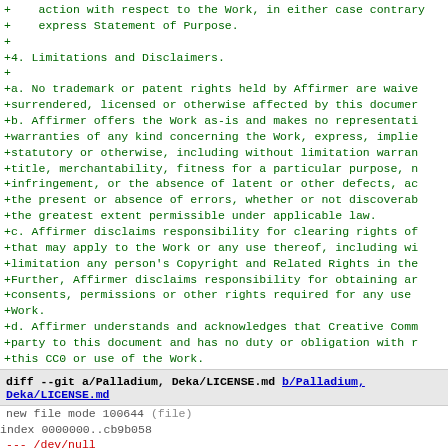+    action with respect to the Work, in either case contrary
+    express Statement of Purpose.
+
+4. Limitations and Disclaimers.
+
+a. No trademark or patent rights held by Affirmer are waive
+surrendered, licensed or otherwise affected by this documer
+b. Affirmer offers the Work as-is and makes no representati
+warranties of any kind concerning the Work, express, implie
+statutory or otherwise, including without limitation warran
+title, merchantability, fitness for a particular purpose, n
+infringement, or the absence of latent or other defects, ac
+the present or absence of errors, whether or not discoverab
+the greatest extent permissible under applicable law.
+c. Affirmer disclaims responsibility for clearing rights of
+that may apply to the Work or any use thereof, including wi
+limitation any person's Copyright and Related Rights in the
+Further, Affirmer disclaims responsibility for obtaining ar
+consents, permissions or other rights required for any use
+Work.
+d. Affirmer understands and acknowledges that Creative Comm
+party to this document and has no duty or obligation with r
+this CC0 or use of the Work.
diff --git a/Palladium, Deka/LICENSE.md b/Palladium, Deka/LICENSE.md
new file mode 100644 (file)
index 0000000..cb9b058
--- /dev/null
+++ b/Palladium, Deka/LICENSE.md
@@ -0,0 +1,121 @@
+Creative Commons Legal Code